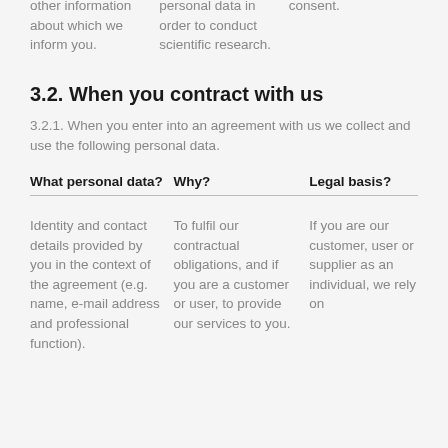other information about which we inform you.
personal data in order to conduct scientific research.
consent.
3.2. When you contract with us
3.2.1. When you enter into an agreement with us we collect and use the following personal data.
| What personal data? | Why? | Legal basis? |
| --- | --- | --- |
| Identity and contact details provided by you in the context of the agreement (e.g. name, e-mail address and professional function). | To fulfil our contractual obligations, and if you are a customer or user, to provide our services to you. | If you are our customer, user or supplier as an individual, we rely on |